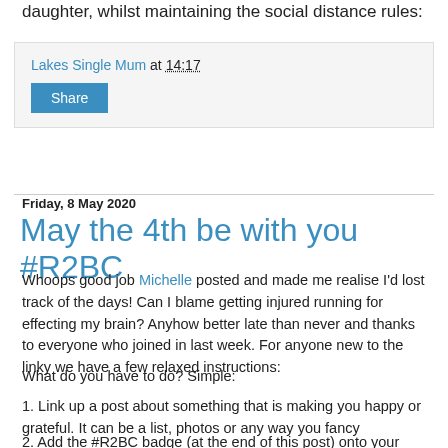daughter, whilst maintaining the social distance rules:
Lakes Single Mum at 14:17
Share
Friday, 8 May 2020
May the 4th be with you #R2BC
Whoops good job Michelle posted and made me realise I'd lost track of the days! Can I blame getting injured running for effecting my brain? Anyhow better late than never and thanks to everyone who joined in last week. For anyone new to the linky we have a few relaxed instructions:
What do you have to do? Simple:
1. Link up a post about something that is making you happy or grateful. It can be a list, photos or any way you fancy
2. Add the #R2BC badge (at the end of this post) onto your